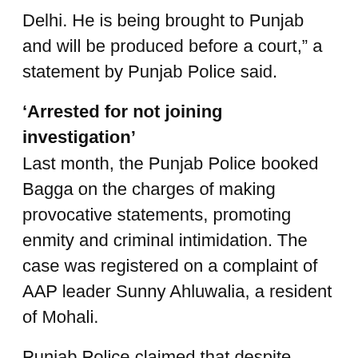Delhi. He is being brought to Punjab and will be produced before a court,” a statement by Punjab Police said.
‘Arrested for not joining investigation’
Last month, the Punjab Police booked Bagga on the charges of making provocative statements, promoting enmity and criminal intimidation. The case was registered on a complaint of AAP leader Sunny Ahluwalia, a resident of Mohali.
Punjab Police claimed that despite being served five notices, he did not join the investigation.